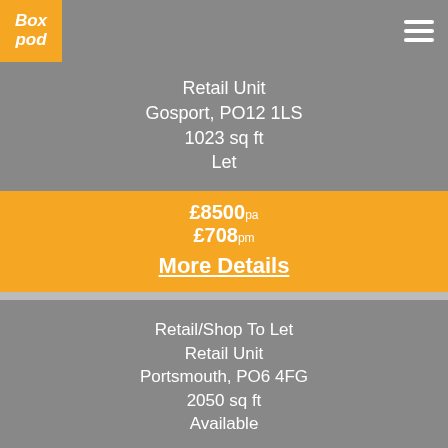[Figure (logo): BoxPod logo in orange box, white italic text]
Retail Unit
Gosport, PO12 1LS
1023 sq ft
Let
£8500pa
£708pm
More Details
Retail/Shop To Let
Retail Unit
Portsmouth, PO6 4FG
2050 sq ft
Available
£35000pa
£2917pm
More Details